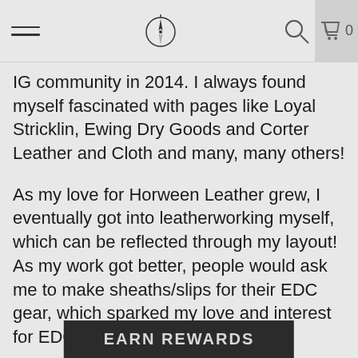Navigation bar with hamburger menu, compass logo, search icon, and cart (0)
IG community in 2014. I always found myself fascinated with pages like Loyal Stricklin, Ewing Dry Goods and Corter Leather and Cloth and many, many others!
As my love for Horween Leather grew, I eventually got into leatherworking myself, which can be reflected through my layout! As my work got better, people would ask me to make sheaths/slips for their EDC gear, which sparked my love and interest for EDC.
I never had a whole lot growing up and whe[...] t all of
EARN REWARDS